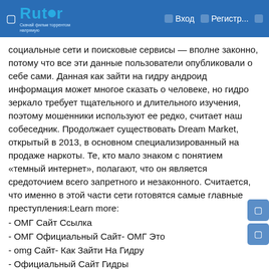Rutor | Вход | Регистр...
социальные сети и поисковые сервисы — вполне законно, потому что все эти данные пользователи опубликовали о себе сами. Данная как зайти на гидру андроид информация может многое сказать о человеке, но гидро зеркало требует тщательного и длительного изучения, поэтому мошенники используют ее редко, считает наш собеседник. Продолжает существовать Dream Market, открытый в 2013, в основном специализированный на продаже наркоты. Те, кто мало знаком с понятием «темный интернет», полагают, что он является средоточием всего запретного и незаконного. Считается, что именно в этой части сети готовятся самые главные преступления:Learn more:
- ОМГ Сайт Ссылка
- ОМГ Официальный Сайт- ОМГ Это
- omg Сайт- Как Зайти На Гидру
- Официальный Сайт Гидры
Ydamiwy
Местный